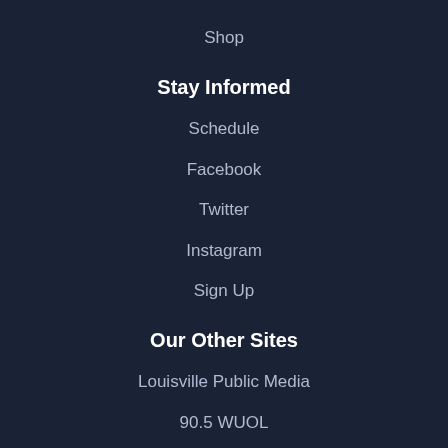Shop
Stay Informed
Schedule
Facebook
Twitter
Instagram
Sign Up
Our Other Sites
Louisville Public Media
90.5 WUOL
91.9 WFPK
KyCIR – Investigations